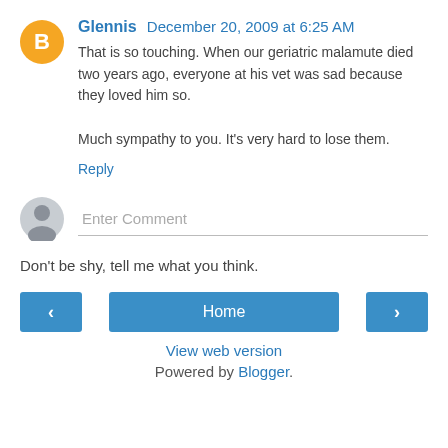Glennis December 20, 2009 at 6:25 AM
That is so touching. When our geriatric malamute died two years ago, everyone at his vet was sad because they loved him so.

Much sympathy to you. It's very hard to lose them.
Reply
Enter Comment
Don't be shy, tell me what you think.
‹
Home
›
View web version
Powered by Blogger.